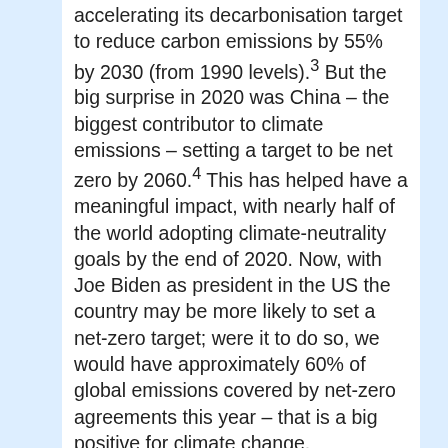accelerating its decarbonisation target to reduce carbon emissions by 55% by 2030 (from 1990 levels).³ But the big surprise in 2020 was China – the biggest contributor to climate emissions – setting a target to be net zero by 2060.⁴ This has helped have a meaningful impact, with nearly half of the world adopting climate-neutrality goals by the end of 2020. Now, with Joe Biden as president in the US the country may be more likely to set a net-zero target; were it to do so, we would have approximately 60% of global emissions covered by net-zero agreements this year – that is a big positive for climate change.
If we shift, then, to moral capitalism, we must firstly ask what we mean by moral capitalism or responsible capitalism as it is also known? Capitalism has previously been very much focused on one type of stakeholder: shareholders or the owners of the business, for example. This is great, but increasingly there is pressure on companies, both at a government